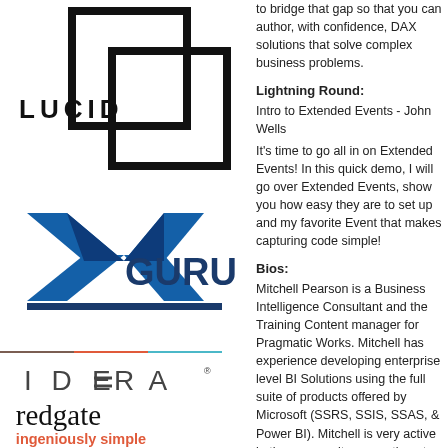[Figure (logo): Lucid logo - text 'LUCID' with two overlapping squares]
[Figure (logo): XGuru logo - blue X shape with 'GURU' text]
[Figure (logo): Idera logo - 'IDERA' text with stylized lines]
[Figure (logo): Redgate logo - 'redgate' text with 'ingeniously simple' tagline]
to bridge that gap so that you can author, with confidence, DAX solutions that solve complex business problems.
Lightning Round:
Intro to Extended Events - John Wells
It's time to go all in on Extended Events! In this quick demo, I will go over Extended Events, show you how easy they are to set up and my favorite Event that makes capturing code simple!
Bios:
Mitchell Pearson is a Business Intelligence Consultant and the Training Content manager for Pragmatic Works. Mitchell has experience developing enterprise level BI Solutions using the full suite of products offered by Microsoft (SSRS, SSIS, SSAS, & Power BI). Mitchell is very active in the community presenting at SQL Saturdays and at PASS...